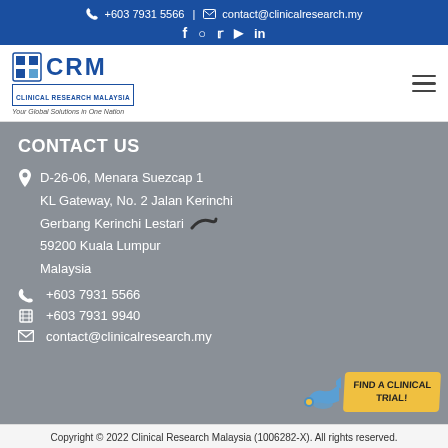+603 7931 5566 | contact@clinicalresearch.my
[Figure (logo): CRM Clinical Research Malaysia logo with tagline 'Your Global Solutions in One Nation']
CONTACT US
D-26-06, Menara Suezcap 1
KL Gateway, No. 2 Jalan Kerinchi
Gerbang Kerinchi Lestari
59200 Kuala Lumpur
Malaysia
+603 7931 5566
+603 7931 9940
contact@clinicalresearch.my
Copyright © 2022 Clinical Research Malaysia (1006282-X). All rights reserved.